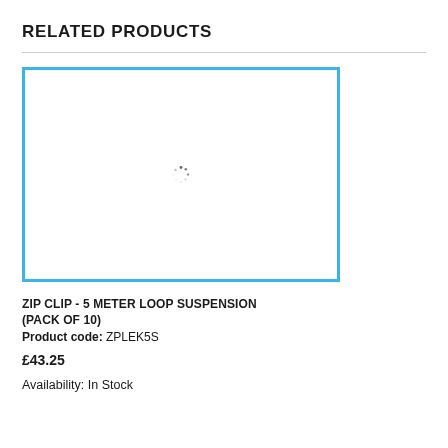RELATED PRODUCTS
[Figure (photo): Product image placeholder with blue border and loading spinner in center]
ZIP CLIP - 5 METER LOOP SUSPENSION (PACK OF 10)
Product code: ZPLEK5S
£43.25
Availability: In Stock